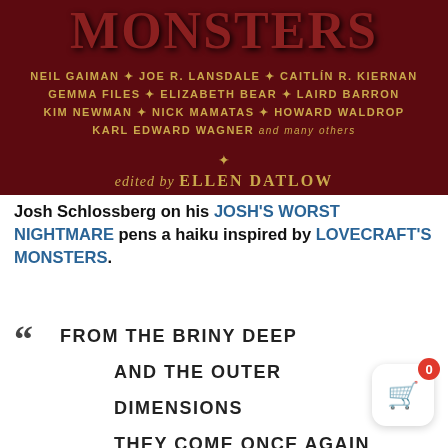[Figure (illustration): Book cover for Lovecraft's Monsters on dark crimson background. Shows partial title 'MONSTERS' in large ornate letters at top. Author names listed in golden text: NEIL GAIMAN, JOE R. LANSDALE, CAITLIN R. KIERNAN, GEMMA FILES, ELIZABETH BEAR, LAIRD BARRON, KIM NEWMAN, NICK MAMATAS, HOWARD WALDROP, KARL EDWARD WAGNER and many others. Below: 'edited by ELLEN DATLOW' in gold italic text.]
Josh Schlossberg on his JOSH'S WORST NIGHTMARE pens a haiku inspired by LOVECRAFT'S MONSTERS.
“ FROM THE BRINY DEEP
 AND THE OUTER DIMENSIONS
 THEY COME ONCE AGAIN